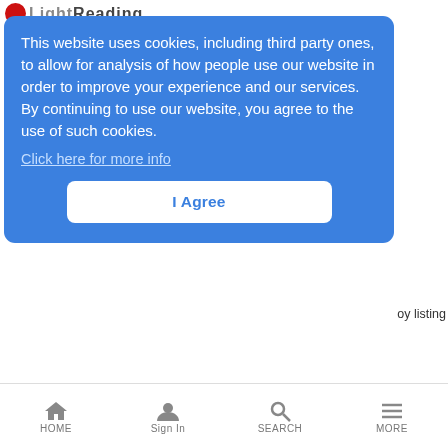Light Reading
This website uses cookies, including third party ones, to allow for analysis of how people use our website in order to improve your experience and our services. By continuing to use our website, you agree to the use of such cookies.
Click here for more info
I Agree
oy listing
ount towards Telecom New Zealand's Internet usage meters and consumption caps
This Week in WiMax
Kaps Korner | 9/18/2009
9:00 AM Where's our WiMax in Chicago?
HOME | Sign In | SEARCH | MORE